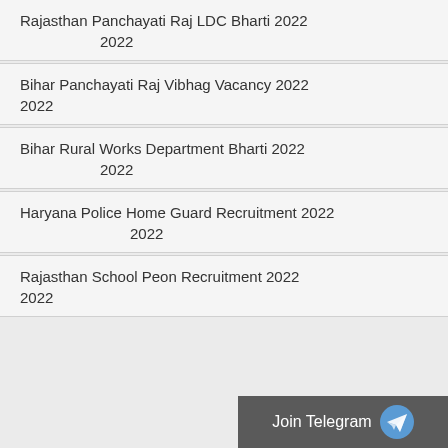Rajasthan Panchayati Raj LDC Bharti 2022
2022
Bihar Panchayati Raj Vibhag Vacancy 2022
2022
Bihar Rural Works Department Bharti 2022
2022
Haryana Police Home Guard Recruitment 2022
2022
Rajasthan School Peon Recruitment 2022
2022